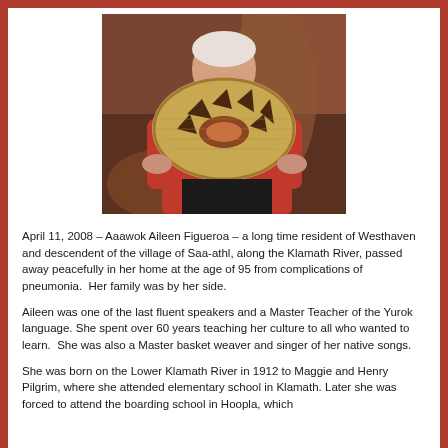[Figure (photo): A woman holding a large decorative woven basket. She is wearing a red sweater and beaded necklaces. The background shows wooden structures.]
April 11, 2008 – Aaawok Aileen Figueroa – a long time resident of Westhaven and descendent of the village of Saa-athl, along the Klamath River, passed away peacefully in her home at the age of 95 from complications of pneumonia.  Her family was by her side.
Aileen was one of the last fluent speakers and a Master Teacher of the Yurok language. She spent over 60 years teaching her culture to all who wanted to learn.  She was also a Master basket weaver and singer of her native songs.
She was born on the Lower Klamath River in 1912 to Maggie and Henry Pilgrim, where she attended elementary school in Klamath. Later she was forced to attend the boarding school in Hoopla, which